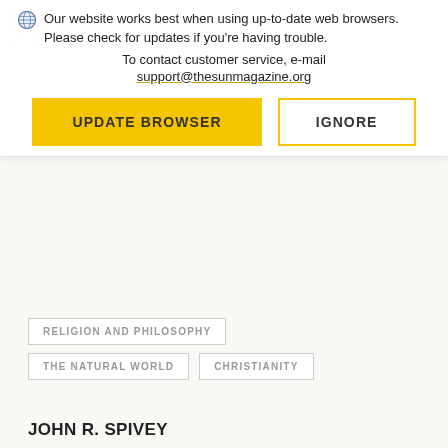Our website works best when using up-to-date web browsers. Please check for updates if you're having trouble. To contact customer service, e-mail support@thesunmagazine.org
behind the tree.
RELIGION AND PHILOSOPHY
IGNORE
THE NATURAL WORLD
CHRISTIANITY
JOHN R. SPIVEY
MORE FROM THIS CONTRIBUTOR ▶
Get a free trial copy of the latest issue